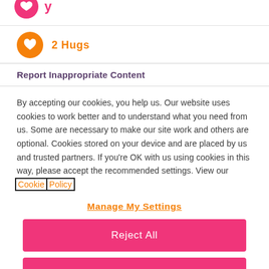[Figure (other): Partial pink circle icon with pink text label, cropped at top of page]
2 Hugs
Report Inappropriate Content
By accepting our cookies, you help us. Our website uses cookies to work better and to understand what you need from us. Some are necessary to make our site work and others are optional. Cookies stored on your device and are placed by us and trusted partners. If you're OK with us using cookies in this way, please accept the recommended settings. View our Cookie Policy
Manage My Settings
Reject All
Accept All Cookies